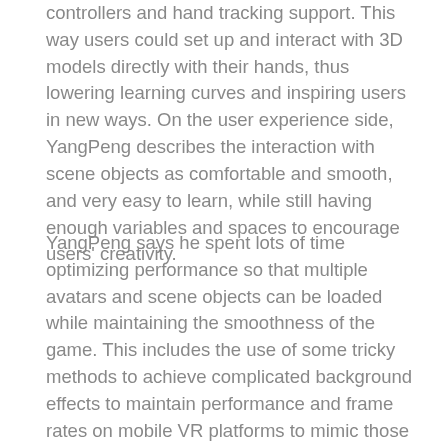controllers and hand tracking support. This way users could set up and interact with 3D models directly with their hands, thus lowering learning curves and inspiring users in new ways. On the user experience side, YangPeng describes the interaction with scene objects as comfortable and smooth, and very easy to learn, while still having enough variables and spaces to encourage users' creativity.
YangPeng says he spent lots of time optimizing performance so that multiple avatars and scene objects can be loaded while maintaining the smoothness of the game. This includes the use of some tricky methods to achieve complicated background effects to maintain performance and frame rates on mobile VR platforms to mimic those seen on PCs. One of the biggest challenges was maintaining performance when loading VRM files on a mobile VR platform, as this can cause a frame rate drop or the system to run out of memory. Solving this involved balancing for optimal frame rate by determining